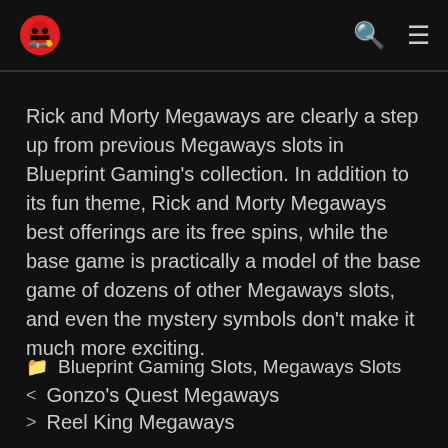Navigation header with logo, search icon, and menu icon
Rick and Morty Megaways are clearly a step up from previous Megaways slots in Blueprint Gaming’s collection. In addition to its fun theme, Rick and Morty Megaways best offerings are its free spins, while the base game is practically a model of the base game of dozens of other Megaways slots, and even the mystery symbols don’t make it much more exciting.
Blueprint Gaming Slots, Megaways Slots
< Gonzo’s Quest Megaways
> Reel King Megaways